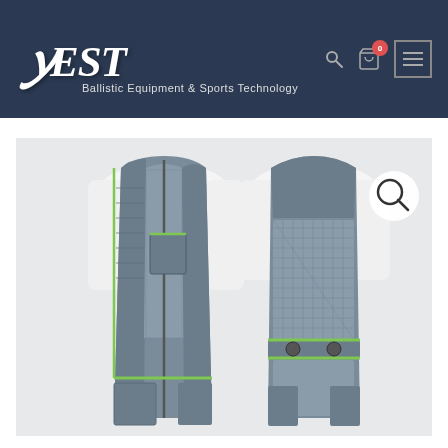[Figure (logo): BEST - Ballistic Equipment & Sports Technology logo in gothic/blackletter style white text on dark navy background, with subtitle 'Ballistic Equipment & Sports Technology']
[Figure (photo): Front and back view of a gray shooting/sport vest with green accent trim, mesh panels on torso and back, worn on a mannequin or person in white t-shirt. The vest features a zipper front, chest pocket with green trim, and mesh ventilation panels. A magnifying glass search icon appears in the top-right corner of the image area.]